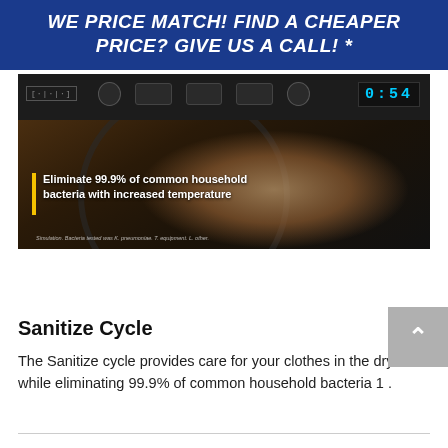WE PRICE MATCH! FIND A CHEAPER PRICE? GIVE US A CALL! *
[Figure (photo): Photo of a dryer control panel with a hand adjusting settings, showing a digital display reading 0:54. Text overlay reads: Eliminate 99.9% of common household bacteria with increased temperature. Small disclaimer text at bottom.]
Sanitize Cycle
The Sanitize cycle provides care for your clothes in the dryer while eliminating 99.9% of common household bacteria 1 .